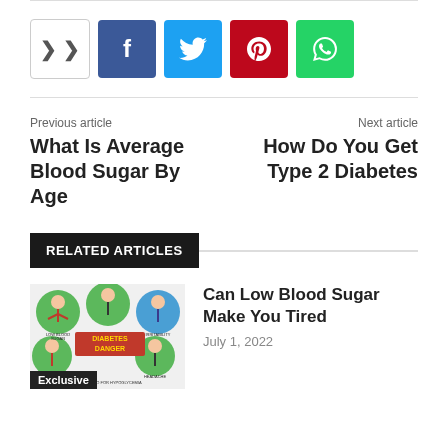[Figure (infographic): Social share bar with share icon, Facebook, Twitter, Pinterest, and WhatsApp buttons]
Previous article
What Is Average Blood Sugar By Age
Next article
How Do You Get Type 2 Diabetes
RELATED ARTICLES
[Figure (illustration): Diabetes danger infographic with cartoon people showing symptoms in green circles, labeled with conditions like LOW BLOOD SUGAR, DIABETES DANGER, IRRITABILITY, HEADACHE]
Exclusive
Can Low Blood Sugar Make You Tired
July 1, 2022